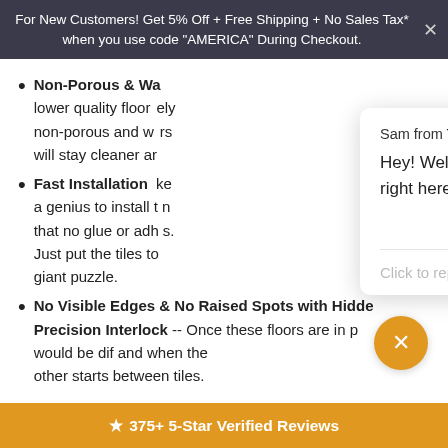For New Customers! Get 5% Off + Free Shipping + No Sales Tax* when you use code "AMERICA" During Checkout.
Non-Porous & Wa... lower quality floor... ely non-porous and w... rs will stay cleaner ar...
[Figure (screenshot): Chat popup from Sam at Top American Garage with welcome message and 'Powered by gorgias' footer and 'Click to reply' input area]
Fast Installation ... ke a genius to install t... n that no glue or adh... s. Just put the tiles to... giant puzzle.
No Visible Edges & No Raised Spots with Hidden Precision Interlock -- Once these floors are in p... would be dif... and when the other starts... between tiles.
★ 375+ 5-Star Verified Reviews